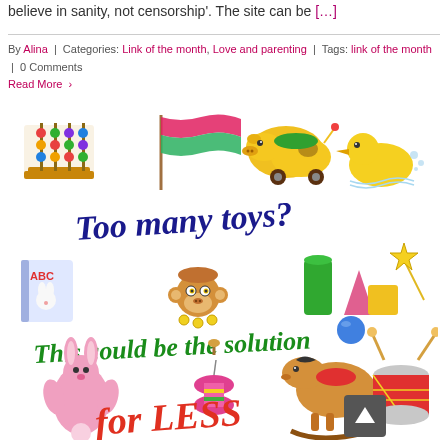believe in sanity, not censorship'. The site can be [...]
By Alina | Categories: Link of the month, Love and parenting | Tags: link of the month | 0 Comments
Read More >
[Figure (illustration): Colorful illustration with toy items (abacus, flag, toy horse, rubber duck, ABC book, monkey toy, geometric shapes, pink bunny, yo-yo, rocking horse, drum) surrounding text 'Too many toys? This could be the solution for LESS']